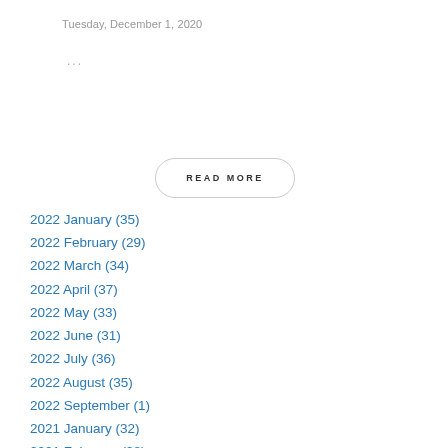Tuesday, December 1, 2020
...
READ MORE
2022 January (35)
2022 February (29)
2022 March (34)
2022 April (37)
2022 May (33)
2022 June (31)
2022 July (36)
2022 August (35)
2022 September (1)
2021 January (32)
2021 February (28)
2021 March (39)